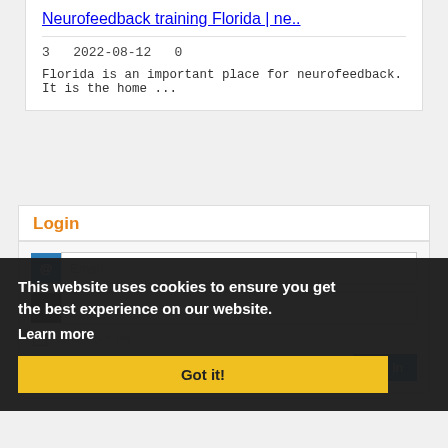Neurofeedback training Florida | ne..
3   2022-08-12   0
Florida is an important place for neurofeedback.  It is the home ...
Login
Email
Password
Remember Me
Register | Forgot Password?
Log In
This website uses cookies to ensure you get the best experience on our website.
Learn more
Got it!